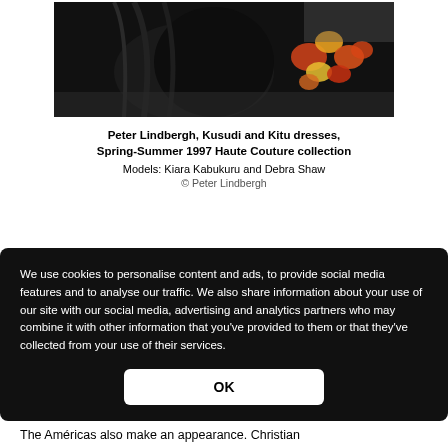[Figure (photo): Fashion photograph by Peter Lindbergh showing models in dark dresses with colorful flowers on a dark background]
Peter Lindbergh, Kusudi and Kitu dresses, Spring-Summer 1997 Haute Couture collection
Models: Kiara Kabukuru and Debra Shaw
© Peter Lindbergh
...y and his entire etween , John Chiuri all es, from to trees.
We use cookies to personalise content and ads, to provide social media features and to analyse our traffic. We also share information about your use of our site with our social media, advertising and analytics partners who may combine it with other information that you've provided to them or that they've collected from your use of their services.
The Américas also make an appearance. Christian